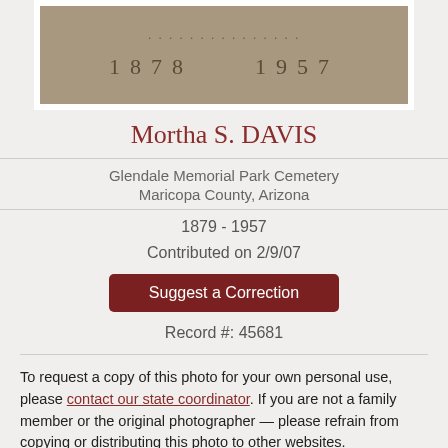[Figure (photo): Close-up photograph of a gravestone inscription showing partially visible name at top, and years '1878' and '1957' engraved in stone]
Mortha S. DAVIS
Glendale Memorial Park Cemetery
Maricopa County, Arizona
1879 - 1957
Contributed on 2/9/07
Suggest a Correction
Record #: 45681
To request a copy of this photo for your own personal use, please contact our state coordinator. If you are not a family member or the original photographer — please refrain from copying or distributing this photo to other websites.